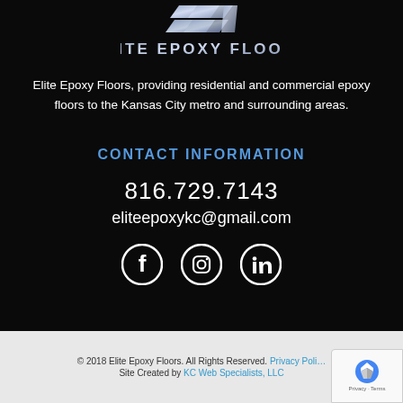[Figure (logo): Elite Epoxy Floors logo with stylized metallic chevron/shield graphic above the company name in metallic blue-grey letters on black background]
Elite Epoxy Floors, providing residential and commercial epoxy floors to the Kansas City metro and surrounding areas.
CONTACT INFORMATION
816.729.7143
eliteepoxykc@gmail.com
[Figure (illustration): Social media icons: Facebook, Instagram, LinkedIn — white on black circles]
© 2018 Elite Epoxy Floors. All Rights Reserved. Privacy Policy   Site Created by KC Web Specialists, LLC